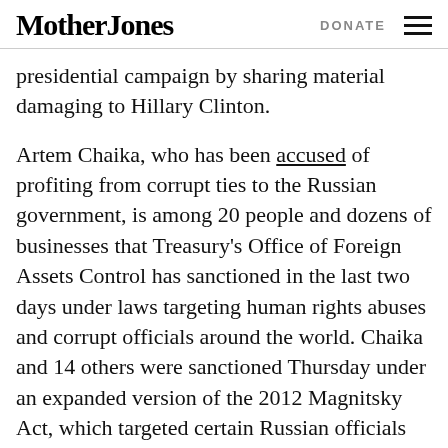Mother Jones | DONATE
presidential campaign by sharing material damaging to Hillary Clinton.
Artem Chaika, who has been accused of profiting from corrupt ties to the Russian government, is among 20 people and dozens of businesses that Treasury's Office of Foreign Assets Control has sanctioned in the last two days under laws targeting human rights abuses and corrupt officials around the world. Chaika and 14 others were sanctioned Thursday under an expanded version of the 2012 Magnitsky Act, which targeted certain Russian officials with sanctions. Individuals listed under the Magnitsky laws are barred from access to property and interests under American jurisdiction. That